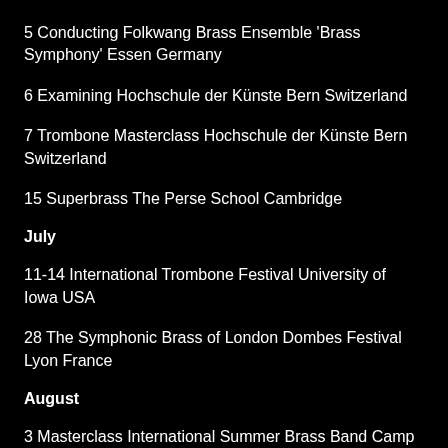5  Conducting Folkwang Brass Ensemble 'Brass Symphony' Essen Germany
6  Examining Hochschule der Künste Bern Switzerland
7  Trombone Masterclass Hochschule der Künste Bern Switzerland
15  Superbrass The Perse School Cambridge
July
11-14  International Trombone Festival University of Iowa USA
28  The Symphonic Brass of London Dombes Festival Lyon France
August
3  Masterclass International Summer Brass Band Camp